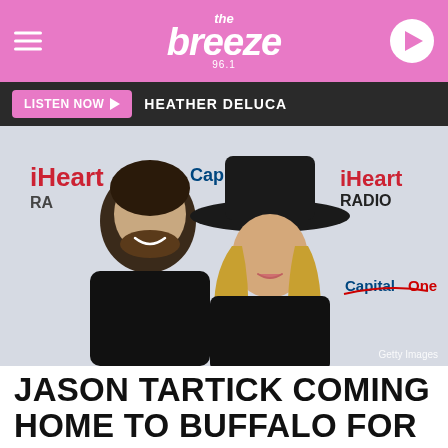the breeze 96.1
LISTEN NOW ▶  HEATHER DELUCA
[Figure (photo): A man and woman posing together at an iHeart Radio event sponsored by Capital One. The man has dark curly hair and a beard, smiling broadly. The woman has long blonde hair and wears a black wide-brim hat. Getty Images credit shown.]
JASON TARTICK COMING HOME TO BUFFALO FOR SPECIAL